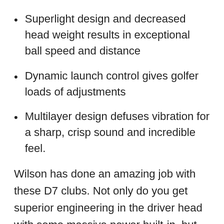Superlight design and decreased head weight results in exceptional ball speed and distance
Dynamic launch control gives golfer loads of adjustments
Multilayer design defuses vibration for a sharp, crisp sound and incredible feel.
Wilson has done an amazing job with these D7 clubs. Not only do you get superior engineering in the driver head with some massive power built-in, but you have an all-around comfortable grip and shaft for a smooth swing.
Not only will amateurs benefit from the forgiving technology built into the head, but even pros will